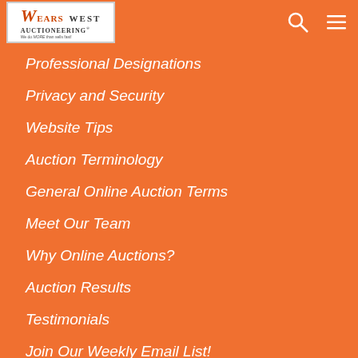[Figure (logo): Wears West Auctioneering logo with white background]
Professional Designations
Privacy and Security
Website Tips
Auction Terminology
General Online Auction Terms
Meet Our Team
Why Online Auctions?
Auction Results
Testimonials
Join Our Weekly Email List!